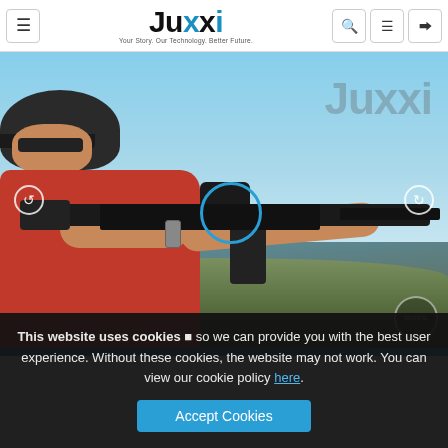Juxxi — Your Story. Our Technology. Better Future.
[Figure (photo): Person in red shirt and black cap aiming a black AR-style rifle to the right, with blue sky background. White circular navigation arrows on left and right sides. A blue circle indicator is overlaid on the receiver area of the rifle. Juxxi watermark text visible in upper right of image.]
This website uses cookies ⚠ so we can provide you with the best user experience. Without these cookies, the website may not work. You can view our cookie policy here.